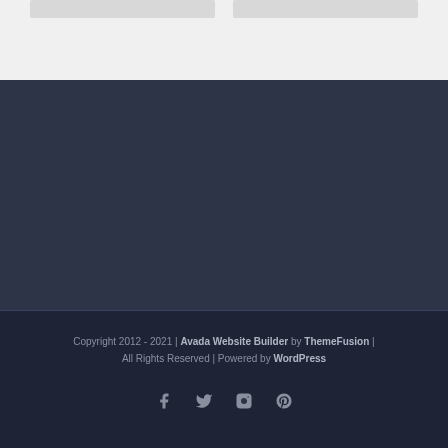[Figure (screenshot): Two grey placeholder card elements at the top of the page]
[Figure (screenshot): Dark navy blue background section]
Copyright 2012 - 2021 | Avada Website Builder by ThemeFusion | All Rights Reserved | Powered by WordPress
[Figure (other): Social media icons: Facebook, Twitter, Instagram, Pinterest]